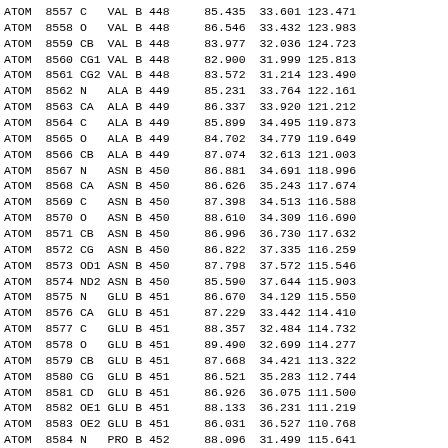| type | serial | name | res | chain | resseq |  | x | y | z |
| --- | --- | --- | --- | --- | --- | --- | --- | --- | --- |
| ATOM | 8557 | C | VAL | B | 448 |  | 85.435 | 33.601 | 123.471 |
| ATOM | 8558 | O | VAL | B | 448 |  | 86.546 | 33.432 | 123.983 |
| ATOM | 8559 | CB | VAL | B | 448 |  | 83.977 | 32.036 | 124.723 |
| ATOM | 8560 | CG1 | VAL | B | 448 |  | 82.900 | 31.999 | 125.813 |
| ATOM | 8561 | CG2 | VAL | B | 448 |  | 83.572 | 31.214 | 123.490 |
| ATOM | 8562 | N | ALA | B | 449 |  | 85.231 | 33.764 | 122.161 |
| ATOM | 8563 | CA | ALA | B | 449 |  | 86.337 | 33.920 | 121.212 |
| ATOM | 8564 | C | ALA | B | 449 |  | 85.899 | 34.495 | 119.873 |
| ATOM | 8565 | O | ALA | B | 449 |  | 84.702 | 34.779 | 119.649 |
| ATOM | 8566 | CB | ALA | B | 449 |  | 87.074 | 32.613 | 121.003 |
| ATOM | 8567 | N | ASN | B | 450 |  | 86.881 | 34.691 | 118.996 |
| ATOM | 8568 | CA | ASN | B | 450 |  | 86.626 | 35.243 | 117.674 |
| ATOM | 8569 | C | ASN | B | 450 |  | 87.398 | 34.513 | 116.588 |
| ATOM | 8570 | O | ASN | B | 450 |  | 88.610 | 34.309 | 116.690 |
| ATOM | 8571 | CB | ASN | B | 450 |  | 86.996 | 36.730 | 117.632 |
| ATOM | 8572 | CG | ASN | B | 450 |  | 86.822 | 37.335 | 116.259 |
| ATOM | 8573 | OD1 | ASN | B | 450 |  | 87.798 | 37.572 | 115.546 |
| ATOM | 8574 | ND2 | ASN | B | 450 |  | 85.590 | 37.644 | 115.903 |
| ATOM | 8575 | N | GLU | B | 451 |  | 86.670 | 34.129 | 115.550 |
| ATOM | 8576 | CA | GLU | B | 451 |  | 87.229 | 33.442 | 114.410 |
| ATOM | 8577 | C | GLU | B | 451 |  | 88.357 | 32.484 | 114.732 |
| ATOM | 8578 | O | GLU | B | 451 |  | 89.490 | 32.699 | 114.277 |
| ATOM | 8579 | CB | GLU | B | 451 |  | 87.668 | 34.421 | 113.322 |
| ATOM | 8580 | CG | GLU | B | 451 |  | 86.521 | 35.283 | 112.744 |
| ATOM | 8581 | CD | GLU | B | 451 |  | 86.926 | 36.075 | 111.500 |
| ATOM | 8582 | OE1 | GLU | B | 451 |  | 88.133 | 36.231 | 111.219 |
| ATOM | 8583 | OE2 | GLU | B | 451 |  | 86.031 | 36.527 | 110.768 |
| ATOM | 8584 | N | PRO | B | 452 |  | 88.096 | 31.499 | 115.641 |
| ATOM | 8585 | CA | PRO | B | 452 |  | 89.087 | 30.480 | 116.027 |
| ATOM | 8586 | C | PRO | B | 452 |  | 88.887 | 29.293 | 115.035 |